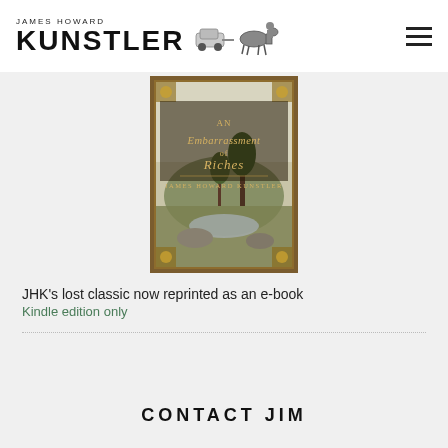JAMES HOWARD KUNSTLER
[Figure (illustration): Book cover for 'An Embarrassment of Riches' by James Howard Kunstler, featuring decorative border with landscape scene of trees and river]
JHK's lost classic now reprinted as an e-book
Kindle edition only
CONTACT JIM